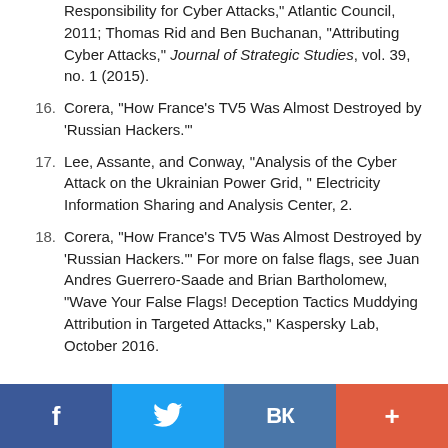Responsibility for Cyber Attacks," Atlantic Council, 2011; Thomas Rid and Ben Buchanan, "Attributing Cyber Attacks," Journal of Strategic Studies, vol. 39, no. 1 (2015).
16. Corera, "How France's TV5 Was Almost Destroyed by 'Russian Hackers.'"
17. Lee, Assante, and Conway, "Analysis of the Cyber Attack on the Ukrainian Power Grid, " Electricity Information Sharing and Analysis Center, 2.
18. Corera, "How France's TV5 Was Almost Destroyed by 'Russian Hackers.'" For more on false flags, see Juan Andres Guerrero-Saade and Brian Bartholomew, "Wave Your False Flags! Deception Tactics Muddying Attribution in Targeted Attacks," Kaspersky Lab, October 2016.
f  [Twitter]  VK  +